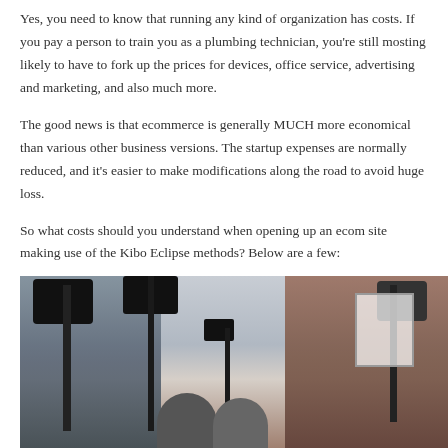Yes, you need to know that running any kind of organization has costs. If you pay a person to train you as a plumbing technician, you're still mosting likely to have to fork up the prices for devices, office service, advertising and marketing, and also much more.
The good news is that ecommerce is generally MUCH more economical than various other business versions. The startup expenses are normally reduced, and it's easier to make modifications along the road to avoid huge loss.
So what costs should you understand when opening up an ecom site making use of the Kibo Eclipse methods? Below are a few:
[Figure (photo): A studio or workspace setup showing professional lighting equipment (camera stands and light stands) with two people visible at the bottom of the frame. Left section is darker, right section shows a brownish wall with a softbox light reflector.]